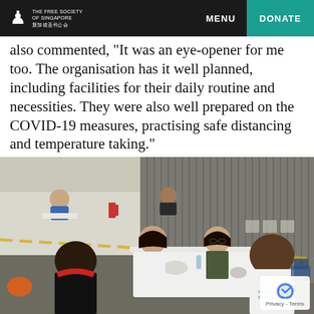THE FREE SOCIETY OF SINGAPORE | MENU | DONATE
also commented, "It was an eye-opener for me too. The organisation has it well planned, including facilities for their daily routine and necessities. They were also well prepared on the COVID-19 measures, practising safe distancing and temperature taking."
[Figure (photo): People sitting around a white table in a large hall, sharing a meal. Multiple groups are visible in the background, with chairs spaced apart for safe distancing. A fire extinguisher and folding tables are visible in the background.]